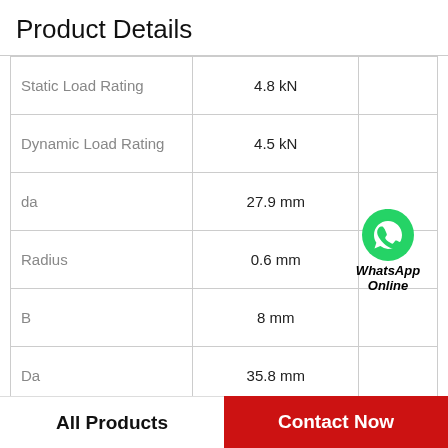Product Details
|  |  |
| --- | --- |
| Static Load Rating | 4.8 kN |
| Dynamic Load Rating | 4.5 kN |
| da | 27.9 mm |
| Radius | 0.6 mm |
| B | 8 mm |
| Da | 35.8 mm |
| Oil Holes | 1.5 mm |
|  |  |
[Figure (logo): WhatsApp Online logo with green phone icon and italic bold text 'WhatsApp Online']
All Products
Contact Now